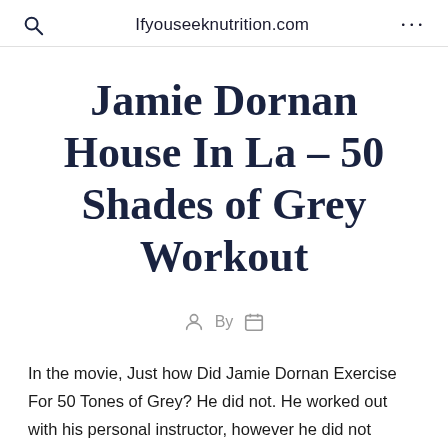Ifyouseeknutrition.com
Jamie Dornan House In La – 50 Shades of Grey Workout
By
In the movie, Just how Did Jamie Dornan Exercise For 50 Tones of Grey? He did not. He worked out with his personal instructor, however he did not